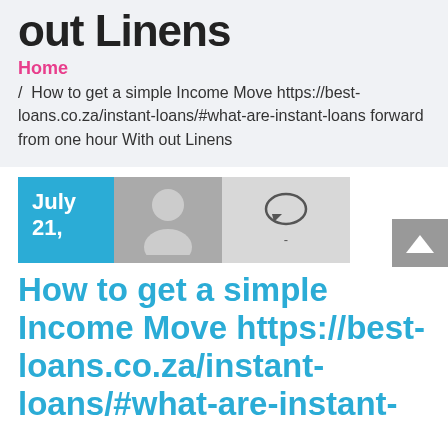out Linens
Home / How to get a simple Income Move https://best-loans.co.za/instant-loans/#what-are-instant-loans forward from one hour With out Linens
[Figure (illustration): Post metadata row: blue date box showing July 21, grey avatar placeholder, light grey comment icon box]
How to get a simple Income Move https://best-loans.co.za/instant-loans/#what-are-instant-